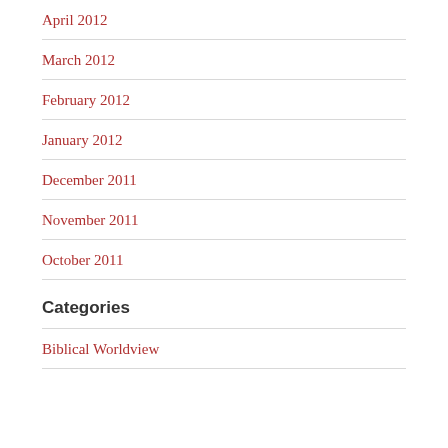April 2012
March 2012
February 2012
January 2012
December 2011
November 2011
October 2011
Categories
Biblical Worldview